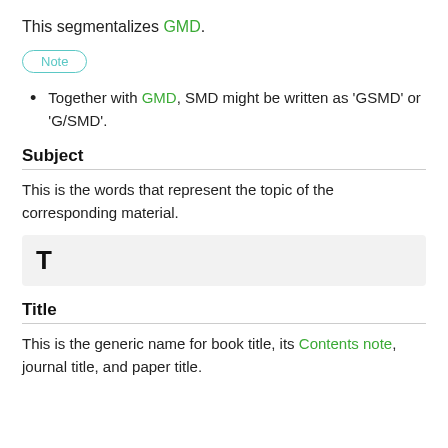This segmentalizes GMD.
Note
Together with GMD, SMD might be written as 'GSMD' or 'G/SMD'.
Subject
This is the words that represent the topic of the corresponding material.
T
Title
This is the generic name for book title, its Contents note, journal title, and paper title.